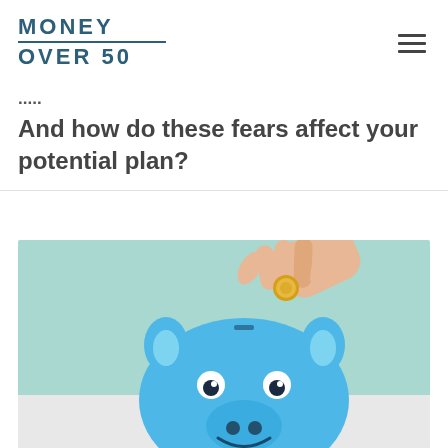MONEY OVER 50
And how do these fears affect your potential plan?
[Figure (photo): A hand inserting a gold coin into a smiling blue ceramic piggy bank, with a teal blurred background.]